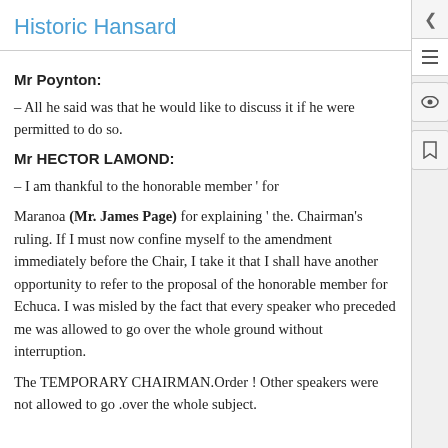Historic Hansard
Mr Poynton:
– All he said was that he would like to discuss it if he were permitted to do so.
Mr HECTOR LAMOND:
– I am thankful to the honorable member ‘ for
Maranoa (Mr. James Page) for explaining ‘ the. Chairman’s ruling. If I must now confine myself to the amendment immediately before the Chair, I take it that I shall have another opportunity to refer to the proposal of the honorable member for Echuca. I was misled by the fact that every speaker who preceded me was allowed to go over the whole ground without interruption.
The TEMPORARY CHAIRMAN.Order ! Other speakers were not allowed to go .over the whole subject.